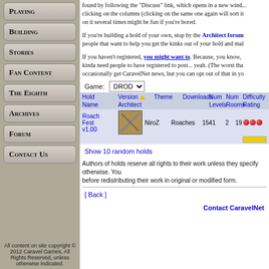Playing
Building
Stories
Fan Content
The Eighth
Archives
Forum
Contact Us
All content on site copyright © 2012 Caravel Games, All Rights Reserved, unless otherwise indicated.
found by following the "Discuss" link, which opens in a new wind... clicking on the columns (clicking on the same one again will sort it on it several times might be fun if you're bored.
If you're building a hold of your own, stop by the Architect forum people that want to help you get the kinks out of your hold and mal
If you haven't registered, you might want to. Because, you know, kinda need people to have registered to post... yeah. (The worst tha occasionally get CaravelNet news, but you can opt out of that in yo
| Hold Name | Version Architect | Theme | Downloads | Num Levels | Num Rooms | Difficulty Rating |
| --- | --- | --- | --- | --- | --- | --- |
| Roach Fest v1.00 | NiroZ | Roaches | 1541 | 2 | 19 |  |
Show 10 random holds
Authors of holds reserve all rights to their work unless they specify otherwise. You before redistributing their work in original or modified form.
[ Back ]
Contact CaravelNet